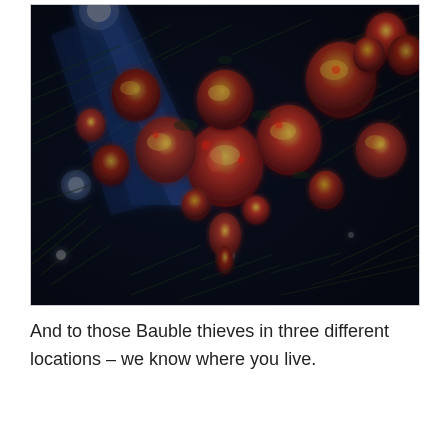[Figure (photo): Close-up photograph of colorful Christmas tree ornaments/baubles with red, yellow, green and amber hues, hanging on dark green pine branches, with blue light rays visible in the background.]
And to those Bauble thieves in three different locations – we know where you live.